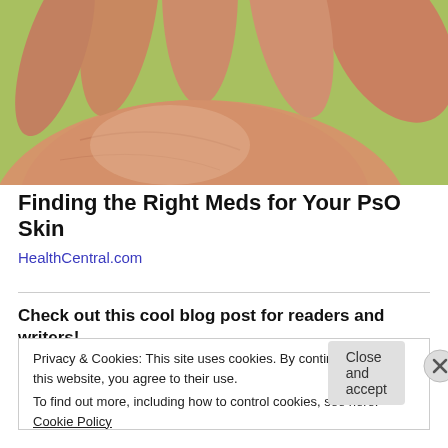[Figure (photo): Close-up photo of a human hand held open, palm facing up, with a green blurred background. Another hand is partially visible at the top right.]
Finding the Right Meds for Your PsO Skin
HealthCentral.com
Check out this cool blog post for readers and writers!
Privacy & Cookies: This site uses cookies. By continuing to use this website, you agree to their use.
To find out more, including how to control cookies, see here: Cookie Policy
Close and accept